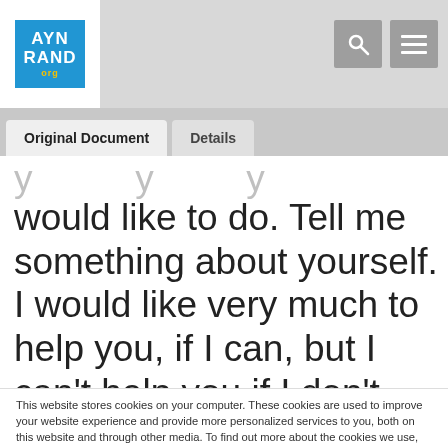AYN RAND org
Original Document | Details
would like to do. Tell me something about yourself. I would like very much to help you, if I can, but I can't help you if I don't know what you really are or what you are doing.
This website stores cookies on your computer. These cookies are used to improve your website experience and provide more personalized services to you, both on this website and through other media. To find out more about the cookies we use, see our Privacy Policy.
We won't track your information when you visit our site. But in order to comply with your preferences, we'll have to use just one tiny cookie so that you're not asked to make this choice again.
Accept
Decline